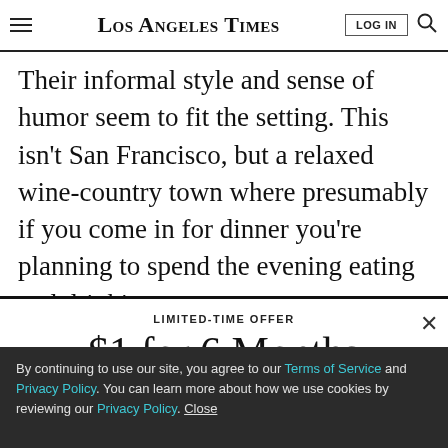Los Angeles Times | LOG IN | [search]
Their informal style and sense of humor seem to fit the setting. This isn't San Francisco, but a relaxed wine-country town where presumably if you come in for dinner you're planning to spend the evening eating and drinking.
LIMITED-TIME OFFER
$1 for 6 Months
SUBSCRIBE NOW
By continuing to use our site, you agree to our Terms of Service and Privacy Policy. You can learn more about how we use cookies by reviewing our Privacy Policy. Close